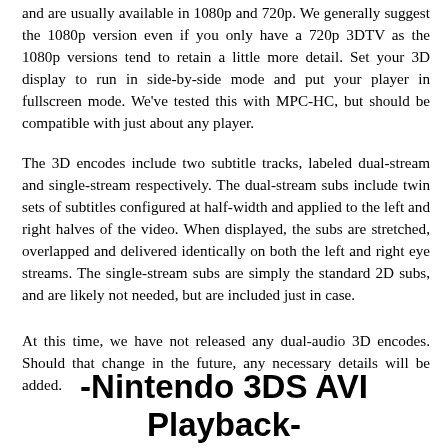and are usually available in 1080p and 720p. We generally suggest the 1080p version even if you only have a 720p 3DTV as the 1080p versions tend to retain a little more detail. Set your 3D display to run in side-by-side mode and put your player in fullscreen mode. We've tested this with MPC-HC, but should be compatible with just about any player.
The 3D encodes include two subtitle tracks, labeled dual-stream and single-stream respectively. The dual-stream subs include twin sets of subtitles configured at half-width and applied to the left and right halves of the video. When displayed, the subs are stretched, overlapped and delivered identically on both the left and right eye streams. The single-stream subs are simply the standard 2D subs, and are likely not needed, but are included just in case.
At this time, we have not released any dual-audio 3D encodes. Should that change in the future, any necessary details will be added.
-Nintendo 3DS AVI Playback-